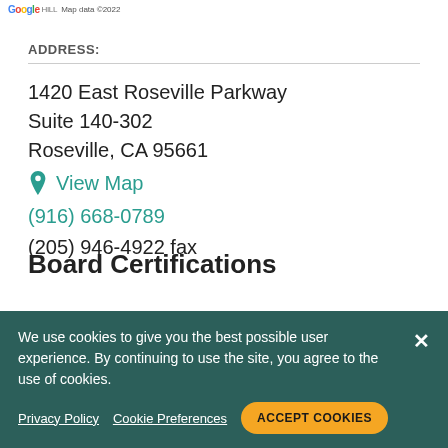[Figure (logo): Google Maps logo with 'Map data ©2022' text]
ADDRESS:
1420 East Roseville Parkway
Suite 140-302
Roseville, CA 95661
View Map
(916) 668-0789
(205) 946-4922 fax
Board Certifications
We use cookies to give you the best possible user experience. By continuing to use the site, you agree to the use of cookies.
Privacy Policy  Cookie Preferences  ACCEPT COOKIES